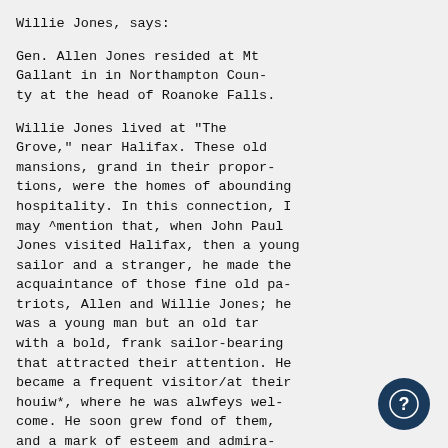Willie Jones, says:

Gen. Allen Jones resided at Mt Gallant in in Northampton County at the head of Roanoke Falls.

Willie Jones lived at "The Grove," near Halifax. These old mansions, grand in their proportions, were the homes of abounding hospitality. In this connection, I may ^mention that, when John Paul Jones visited Halifax, then a young sailor and a stranger, he made the acquaintance of those fine old patriots, Allen and Willie Jones; he was a young man but an old tar with a bold, frank sailor-bearing that attracted their attention. He became a frequent visitor/at their houiw*, where he was alwfeys welcome. He soon grew fond of them, and a mark of esteem and admiration, he adopted their name, saying that if he lived he would make